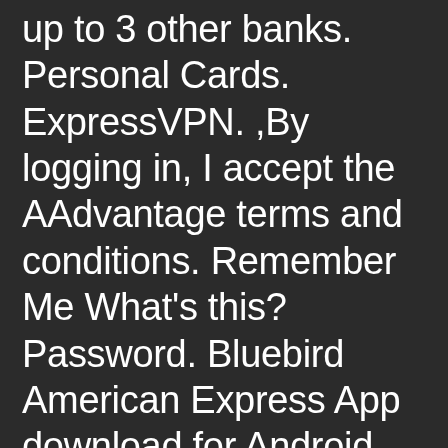up to 3 other banks. Personal Cards. ExpressVPN. ,By logging in, I accept the AAdvantage terms and conditions. Remember Me What's this? Password. Bluebird American Express App download for Android devices. Fingerprint and Face login (on supported devices), gives you quick, safe and secure access. American Express Serve is a prepaid